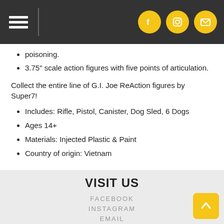Navigation header with hamburger menu and social icons (Facebook, Instagram, Email)
poisoning.
3.75" scale action figures with five points of articulation.
Collect the entire line of G.I. Joe ReAction figures by Super7!
Includes: Rifle, Pistol, Canister, Dog Sled, 6 Dogs
Ages 14+
Materials: Injected Plastic & Paint
Country of origin: Vietnam
VISIT US
FACEBOOK
INSTAGRAM
EMAIL